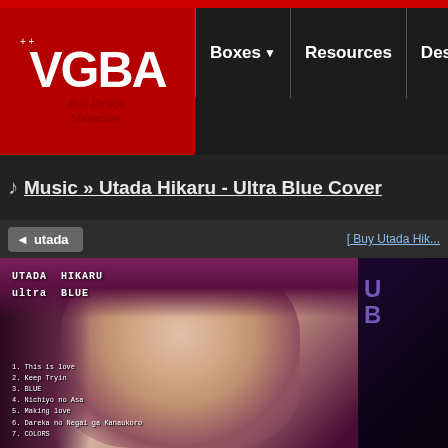[Figure (screenshot): VGBA Box Design Showcase website header with red logo box, navigation items Boxes, Resources, Designers, For]
Music » Utada Hikaru - Ultra Blue Cover
utada
[ Buy Utada Hik...
[Figure (photo): Utada Hikaru Ultra Blue album cover showing woman's face with closed eyes, purple/maroon background, tracklist including: 1.This is love, 2.Keep Tryin, 3.BLUE, 4.Nichiyo no Asa, 5.Making love, 6.Dareka no Negai ga Kanaukoro, 7.COLORS]